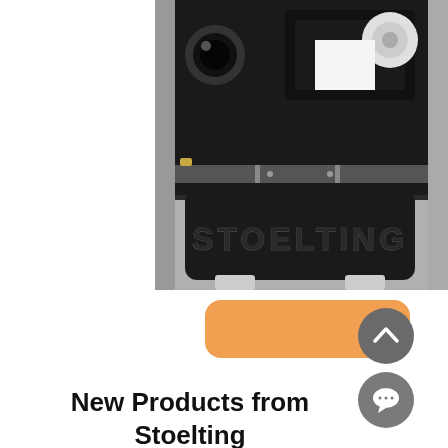[Figure (photo): Close-up photo of a Stoelting branded machine, showing a black panel with raised 'STOELTING' lettering, along with mechanical components including rollers and metal housing above the panel.]
[Figure (other): Orange rounded rectangle button UI element]
[Figure (other): Dark grey circle with upward chevron arrow icon]
[Figure (other): Dark grey circle with speech/chat bubble icon]
New Products from Stoelting